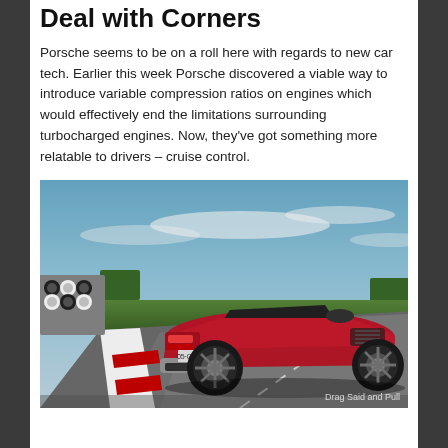Deal with Corners
Porsche seems to be on a roll here with regards to new car tech. Earlier this week Porsche discovered a viable way to introduce variable compression ratios on engines which would effectively end the limitations surrounding turbocharged engines. Now, they've got something more relatable to drivers – cruise control.
[Figure (photo): Red Porsche Boxster/Cayman convertible sports car on a racing track, viewed from rear three-quarter angle. Blue sky with clouds in background. Watermark reads 'Drag Said and Pull' in bottom right.]